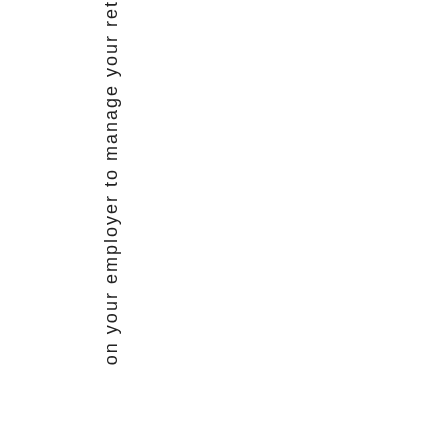on your employer to manage your ret